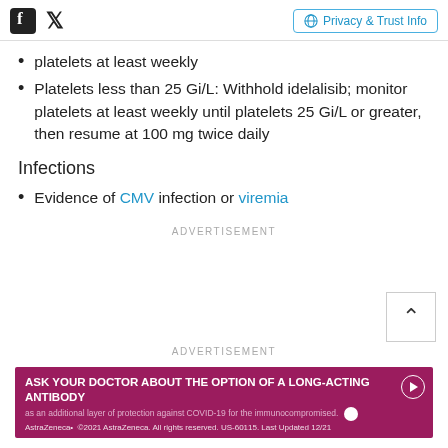Facebook Twitter | Privacy & Trust Info
platelets at least weekly
Platelets less than 25 Gi/L: Withhold idelalisib; monitor platelets at least weekly until platelets 25 Gi/L or greater, then resume at 100 mg twice daily
Infections
Evidence of CMV infection or viremia
ADVERTISEMENT
ADVERTISEMENT
[Figure (other): AstraZeneca advertisement banner: 'ASK YOUR DOCTOR ABOUT THE OPTION OF A LONG-ACTING ANTIBODY as an additional layer of protection against COVID-19 for the immunocompromised. AstraZeneca ©2021 AstraZeneca. All rights reserved. US-60115. Last Updated 12/21']